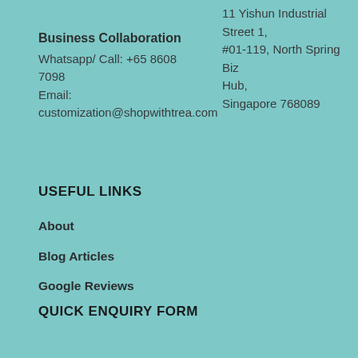Business Collaboration
Whatsapp/ Call: +65 8608 7098
Email:
customization@shopwithtrea.com
11 Yishun Industrial Street 1, #01-119, North Spring Biz Hub, Singapore 768089
USEFUL LINKS
About
Blog Articles
Google Reviews
QUICK ENQUIRY FORM